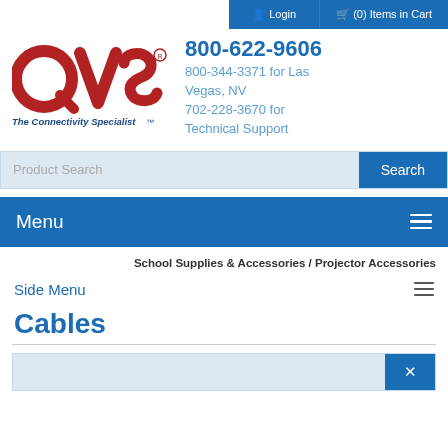Login | (0) Items in Cart
[Figure (logo): QVS logo with tagline 'The Connectivity Specialist TM']
800-622-9606
800-344-3371 for Las Vegas, NV
702-228-3670 for Technical Support
Product Search | Search
Menu
School Supplies & Accessories / Projector Accessories
Side Menu
Cables